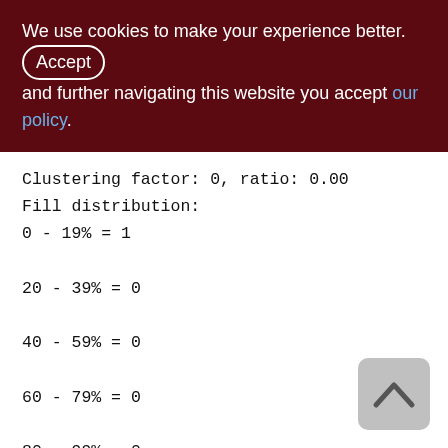We use cookies to make your experience better. By Accept and further navigating this website you accept our policy.
Clustering factor: 0, ratio: 0.00
Fill distribution:
0 - 19% = 1
20 - 39% = 0
40 - 59% = 0
60 - 79% = 0
80 - 99% = 0

Index MON_LOG_TABLE_STATS_ROWSET (1)
Root page: 373, depth: 1, leaf buckets: 1, nodes: 0
Average node length: 0.00, total dup: 0,